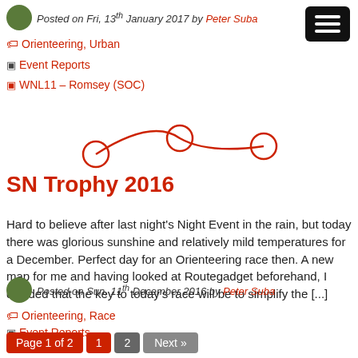Posted on Fri, 13th January 2017 by Peter Suba
🏷 Orienteering, Urban
▣ Event Reports
▣ WNL11 – Romsey (SOC)
[Figure (other): Decorative red curved line with three circle nodes]
SN Trophy 2016
Hard to believe after last night's Night Event in the rain, but today there was glorious sunshine and relatively mild temperatures for a December. Perfect day for an Orienteering race then. A new map for me and having looked at Routegadget beforehand, I decided that the key to today's race will be to simplify the [...]
Posted on Sun, 11th December 2016 by Peter Suba
🏷 Orienteering, Race
▣ Event Reports
Page 1 of 2  1  2  Next »